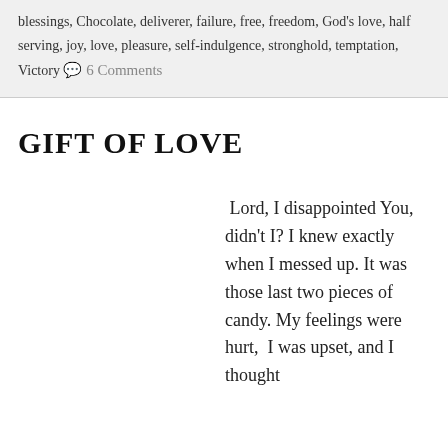blessings, Chocolate, deliverer, failure, free, freedom, God's love, half serving, joy, love, pleasure, self-indulgence, stronghold, temptation, Victory  💬 6 Comments
GIFT OF LOVE
Lord, I disappointed You, didn't I? I knew exactly when I messed up. It was those last two pieces of candy. My feelings were hurt,  I was upset, and I thought